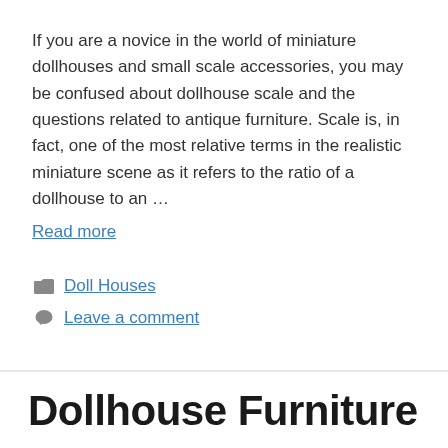If you are a novice in the world of miniature dollhouses and small scale accessories, you may be confused about dollhouse scale and the questions related to antique furniture. Scale is, in fact, one of the most relative terms in the realistic miniature scene as it refers to the ratio of a dollhouse to an …
Read more
Doll Houses
Leave a comment
Dollhouse Furniture